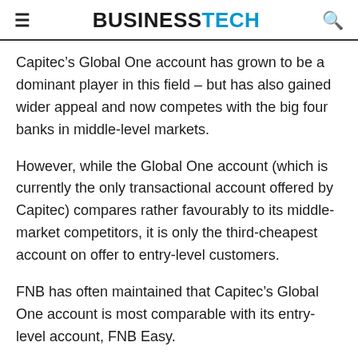BUSINESSTECH
Capitec’s Global One account has grown to be a dominant player in this field – but has also gained wider appeal and now competes with the big four banks in middle-level markets.
However, while the Global One account (which is currently the only transactional account offered by Capitec) compares rather favourably to its middle-market competitors, it is only the third-cheapest account on offer to entry-level customers.
FNB has often maintained that Capitec’s Global One account is most comparable with its entry-level account, FNB Easy.